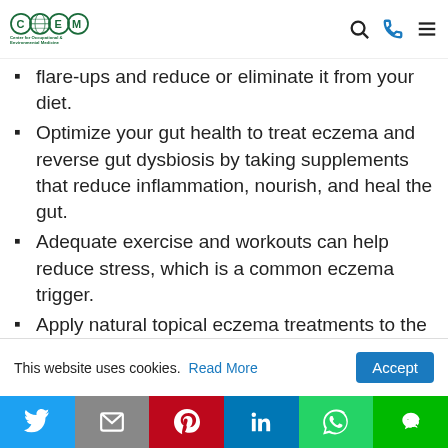Center for Occupational & Environmental Medicine
flare-ups and reduce or eliminate it from your diet.
Optimize your gut health to treat eczema and reverse gut dysbiosis by taking supplements that reduce inflammation, nourish, and heal the gut.
Adequate exercise and workouts can help reduce stress, which is a common eczema trigger.
Apply natural topical eczema treatments to the
This website uses cookies. Read More Accept
Social share bar: Twitter, Email, Pinterest, LinkedIn, WhatsApp, Line